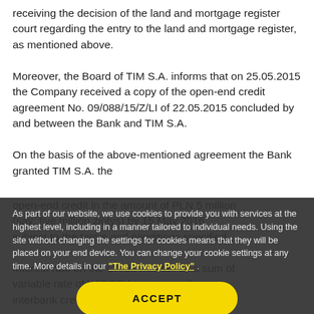receiving the decision of the land and mortgage register court regarding the entry to the land and mortgage register, as mentioned above.
Moreover, the Board of TIM S.A. informs that on 25.05.2015 the Company received a copy of the open-end credit agreement No. 09/088/15/Z/LI of 22.05.2015 concluded by and between the Bank and TIM S.A.
On the basis of the above-mentioned agreement the Bank granted TIM S.A. the open-end credit in the amount of PLN 5 million (say: five million zlotys) by 15 May 2016 subject to the terms and conditions specified.
Interest rate on the Credit was set as a sum of variable rate of WIBOR for one-month interbank credits and the Bank's...
The basis security specified in the Credit
As part of our website, we use cookies to provide you with services at the highest level, including in a manner tailored to individual needs. Using the site without changing the settings for cookies means that they will be placed on your end device. You can change your cookie settings at any time. More details in our "The Privacy Policy" .